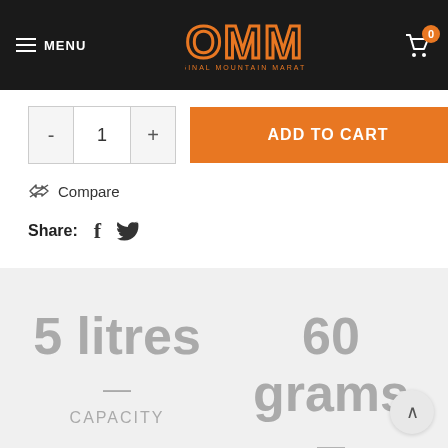MENU | OMM Original Mountain Marathon | Cart 0
- 1 +
ADD TO CART
⇄ Compare
Share: f 🐦
5 litres
60 grams
CAPACITY
LEANWEIGHT